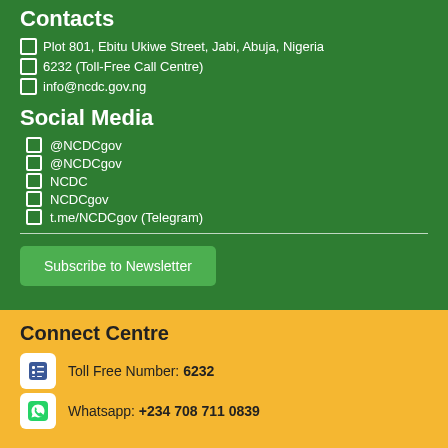Contacts
Plot 801, Ebitu Ukiwe Street, Jabi, Abuja, Nigeria
6232 (Toll-Free Call Centre)
info@ncdc.gov.ng
Social Media
@NCDCgov
@NCDCgov
NCDC
NCDCgov
t.me/NCDCgov (Telegram)
Subscribe to Newsletter
Connect Centre
Toll Free Number: 6232
Whatsapp: +234 708 711 0839